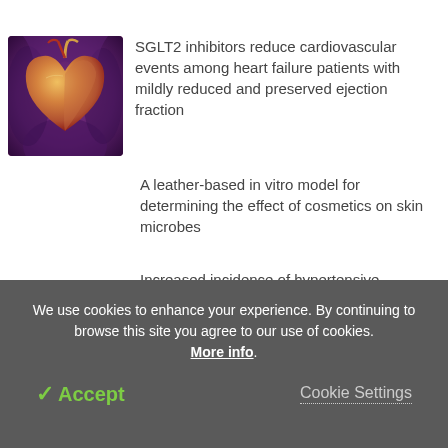[Figure (photo): Partial top view of a red/strawberry-like object at top of page]
[Figure (photo): Medical illustration of a human heart shown in chest cavity with purple/blue toned background]
SGLT2 inhibitors reduce cardiovascular events among heart failure patients with mildly reduced and preserved ejection fraction
A leather-based in vitro model for determining the effect of cosmetics on skin microbes
Increased incidence of hypertensive
We use cookies to enhance your experience. By continuing to browse this site you agree to our use of cookies. More info.